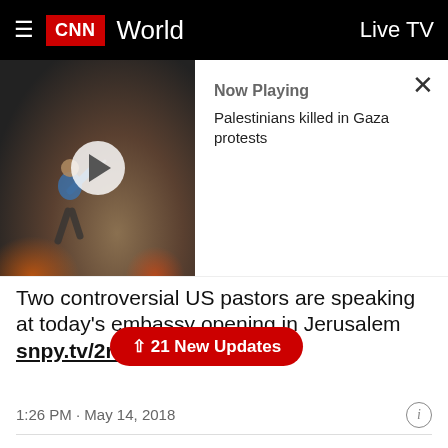CNN World | Live TV
[Figure (screenshot): CNN video player thumbnail showing a person in a smoke-filled scene with fire in background. Overlay shows 'Now Playing: Palestinians killed in Gaza protests' with close button.]
Two controversial US pastors are speaking at today's embassy opening in Jerusalem snpy.tv/2rGdh...
↑ 21 New Updates
1:26 PM · May 14, 2018
♥ 1  Reply  Copy link
Read 1 reply
10:05 a.m. ET, May 14, 2018
Footage shows deadly protests